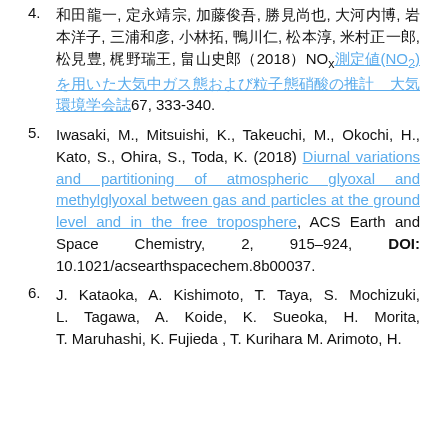4. 和田龍一, 定永靖宗, 加藤俊吾, 勝見尚也, 大河内博, 岩本洋子, 三浦和彦, 小林拓, 鴨川仁, 松本淳, 米村正一郎, 松見豊, 梶野瑞王, 畠山史郎（2018）NOx測定値(NO₂)を用いた大気中ガス態および粒子態硝酸の推計　大気環境学会誌67, 333-340.
5. Iwasaki, M., Mitsuishi, K., Takeuchi, M., Okochi, H., Kato, S., Ohira, S., Toda, K. (2018) Diurnal variations and partitioning of atmospheric glyoxal and methylglyoxal between gas and particles at the ground level and in the free troposphere, ACS Earth and Space Chemistry, 2, 915–924, DOI: 10.1021/acsearthspacechem.8b00037.
6. J. Kataoka, A. Kishimoto, T. Taya, S. Mochizuki, L. Tagawa, A. Koide, K. Sueoka, H. Morita, T. Maruhashi, K. Fujieda, T. Kurihara M. Arimoto, H.